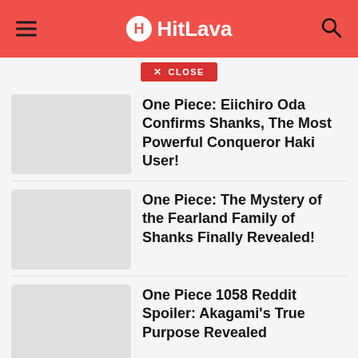HitLava
CLOSE
One Piece: Eiichiro Oda Confirms Shanks, The Most Powerful Conqueror Haki User!
One Piece: The Mystery of the Fearland Family of Shanks Finally Revealed!
One Piece 1058 Reddit Spoiler: Akagami's True Purpose Revealed
One Piece 1048: Garp Finds Out Luffy Eats The Hito Hito no Mi Model Nika's Devil Fruit From the Beginning!